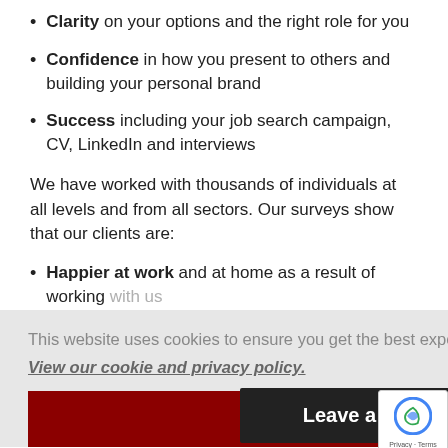Clarity on your options and the right role for you
Confidence in how you present to others and building your personal brand
Success including your job search campaign, CV, LinkedIn and interviews
We have worked with thousands of individuals at all levels and from all sectors. Our surveys show that our clients are:
Happier at work and at home as a result of working with us
This website uses cookies to ensure you get the best experience on our website.
View our cookie and privacy policy.
Dismiss
Leave a message